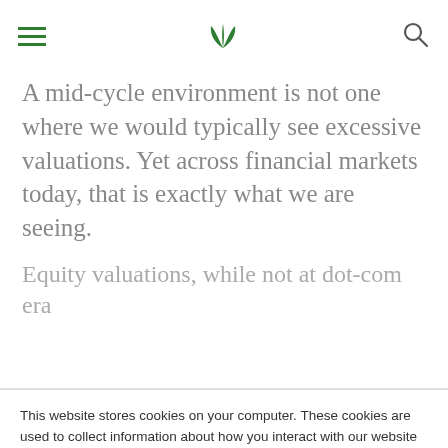Navigation header with hamburger menu, leaf logo, and search icon
A mid-cycle environment is not one where we would typically see excessive valuations. Yet across financial markets today, that is exactly what we are seeing.
Equity valuations, while not at dot-com era
This website stores cookies on your computer. These cookies are used to collect information about how you interact with our website and allow us to remember you. We use this information in order to improve and customize your browsing experience and for analytics and metrics about our visitors both on this website and other media. To find out more about the cookies we use, see our Privacy Policy
If you decline, your information won't be tracked when you visit this website. A single cookie will be used in your browser to remember your preference not to be tracked.